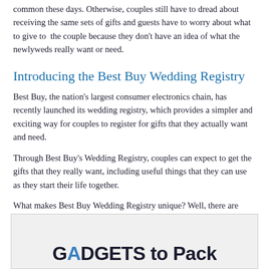common these days. Otherwise, couples still have to dread about receiving the same sets of gifts and guests have to worry about what to give to the couple because they don't have an idea of what the newlyweds really want or need.
Introducing the Best Buy Wedding Registry
Best Buy, the nation's largest consumer electronics chain, has recently launched its wedding registry, which provides a simpler and exciting way for couples to register for gifts that they actually want and need.
Through Best Buy's Wedding Registry, couples can expect to get the gifts that they really want, including useful things that they can use as they start their life together.
What makes Best Buy Wedding Registry unique? Well, there are several reasons why couples everywhere should be excited about it.
[Figure (other): Partial image showing large bold text 'GADGETS to Pack' with a blue accent letter, on a light gray background.]